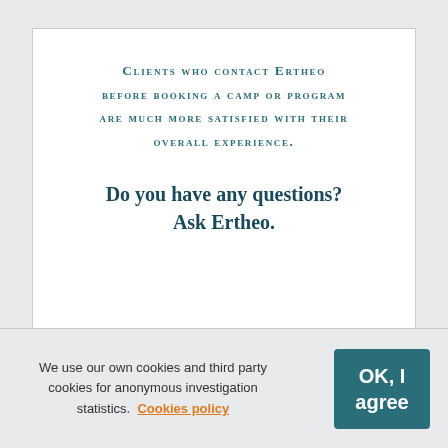Clients who contact Ertheo before booking a camp or program are much more satisfied with their overall experience.
Do you have any questions? Ask Ertheo.
[Figure (other): Blue gradient button with text 'Get a Quote' and a document icon on the right]
We use our own cookies and third party cookies for anonymous investigation statistics.  Cookies policy
OK, I agree